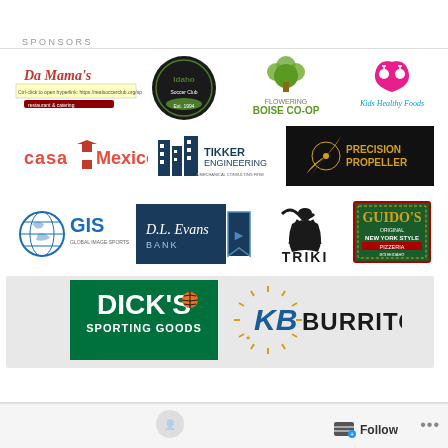SPONSORS
[Figure (logo): Sponsor logos grid including: Da Mama's (with hyperlink label), Idaho Soccer Club, Boise Co-op, Kids Healthy Foods, Casa Mexico, Tikker Engineering, Precision Propeller, GIS Global Image Sports, D.L. Evans Bank, Triki, Guido's Original New York Style, Dick's Sporting Goods, KB's Burritos]
Follow ...